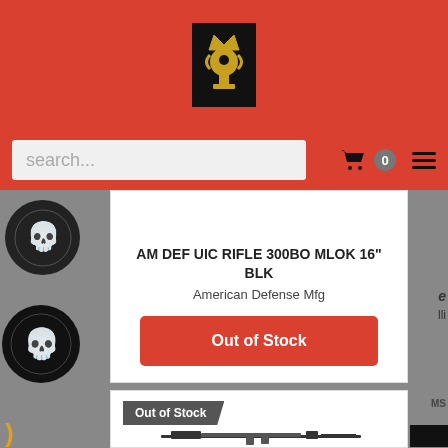[Figure (screenshot): E-commerce website header with red background and trophy logo]
[Figure (screenshot): Search bar with cart icon (0) and hamburger menu on red navigation bar]
AM DEF UIC RIFLE 300BO MLOK 16" BLK
American Defense Mfg
Out of Stock
Out of Stock